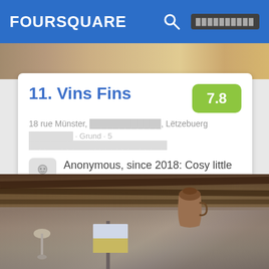FOURSQUARE
[Figure (photo): Top strip photo of indoor scene]
11. Vins Fins
7.8
18 rue Münster, ████████████, Lëtzebuerg
████████ · Grund · 5 █████████████████████████
Anonymous, since 2018: Cosy little nook with - indeed - fine wines but also snacks
[Figure (photo): Interior photo of rustic wine bar with wooden beams and a jug on the wall]